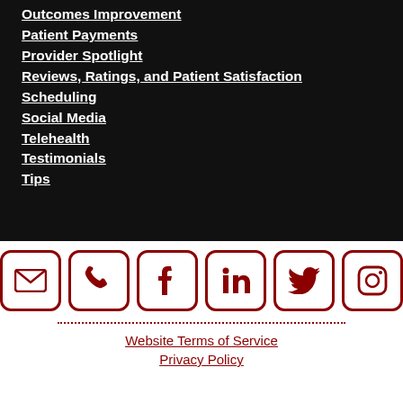Outcomes Improvement
Patient Payments
Provider Spotlight
Reviews, Ratings, and Patient Satisfaction
Scheduling
Social Media
Telehealth
Testimonials
Tips
[Figure (illustration): Six social media/contact icon buttons with dark red rounded-square borders: email envelope, phone, Facebook f, LinkedIn in, Twitter bird, Instagram camera]
Website Terms of Service | Privacy Policy